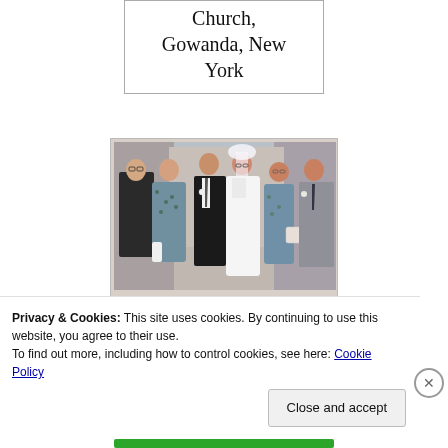Church, Gowanda, New York
[Figure (photo): Wedding photo showing six people: a man in a suit on the left, a woman in a blue floral dress, a groom in a black suit, a bride in a white wedding gown with veil, an older woman in a blue floral dress, and a man in a gray suit on the right, posed inside what appears to be a church or reception hall]
Privacy & Cookies: This site uses cookies. By continuing to use this website, you agree to their use.
To find out more, including how to control cookies, see here: Cookie Policy
Close and accept